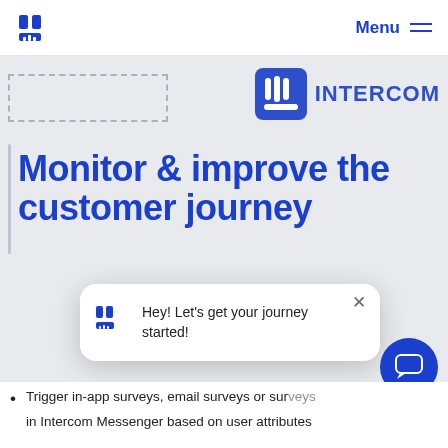Menu
[Figure (logo): Intercom logo with icon and INTERCOM wordmark]
Monitor & improve the customer journey
[Figure (screenshot): Chat popup: Hey! Let's get your journey started!]
Trigger in-app surveys, email surveys or sur...
in Intercom Messenger based on user attributes